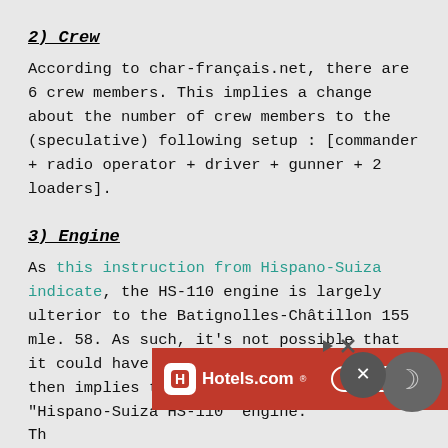2) Crew
According to char-français.net, there are 6 crew members. This implies a change about the number of crew members to the (speculative) following setup : [commander + radio operator + driver + gunner + 2 loaders].
3) Engine
As this instruction from Hispano-Suiza indicate, the HS-110 engine is largely ulterior to the Batignolles-Châtillon 155 mle. 58. As such, it's not possible that it could have equipped this vehicle. This then implies the remov[al] of "Hispano-Suiza HS-110" engine.
[Figure (screenshot): Hotels.com advertisement banner with red background, Hotels.com logo, and BOOK NOW button]
Th[e]